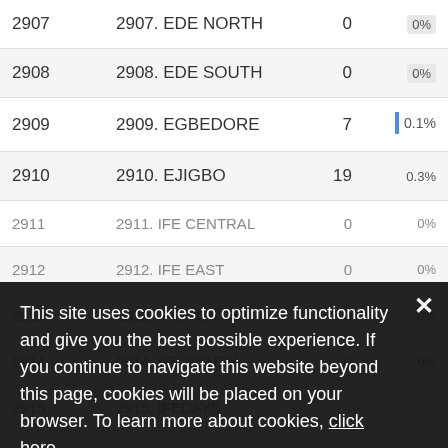| ID | Name | Count | Percent |
| --- | --- | --- | --- |
| 2907 | 2907. EDE NORTH | 0 | 0% |
| 2908 | 2908. EDE SOUTH | 0 | 0% |
| 2909 | 2909. EGBEDORE | 7 | 0.1% |
| 2910 | 2910. EJIGBO | 19 | 0.3% |
| 2911 | 2911. IFE CENTRAL | 0 | 0% |
| 2912 | 2912. IFE EAST | 0 | 0% |
| 2913 | 2913. IFE NORTH | 0 | 0% |
| 2914 | 2914. IFE SOUTH | 0 | 0% |
| 2915 | 2915. IFEDAYS | ? |  |
This site uses cookies to optimize functionality and give you the best possible experience. If you continue to navigate this website beyond this page, cookies will be placed on your browser. To learn more about cookies, click here.